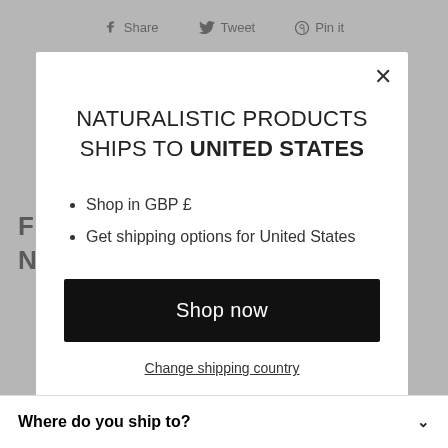Share  Tweet  Pin it
NATURALISTIC PRODUCTS SHIPS TO UNITED STATES
Shop in GBP £
Get shipping options for United States
Shop now
Change shipping country
Where do you ship to?